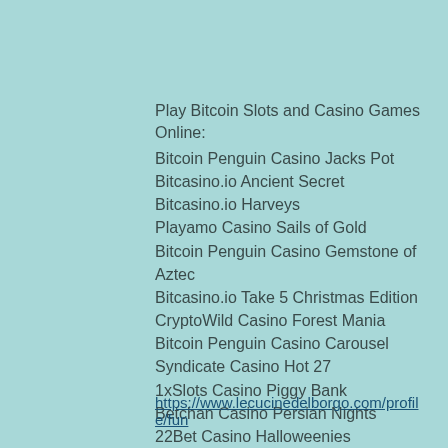Play Bitcoin Slots and Casino Games Online:
Bitcoin Penguin Casino Jacks Pot
Bitcasino.io Ancient Secret
Bitcasino.io Harveys
Playamo Casino Sails of Gold
Bitcoin Penguin Casino Gemstone of Aztec
Bitcasino.io Take 5 Christmas Edition
CryptoWild Casino Forest Mania
Bitcoin Penguin Casino Carousel
Syndicate Casino Hot 27
1xSlots Casino Piggy Bank
Betchan Casino Persian Nights
22Bet Casino Halloweenies
Betcoin.ag Casino Silver Lion
1xBit Casino Beautiful Nature
Sportsbet.io Evil Genotype
https://www.lecucinedelborgo.com/profile/fun